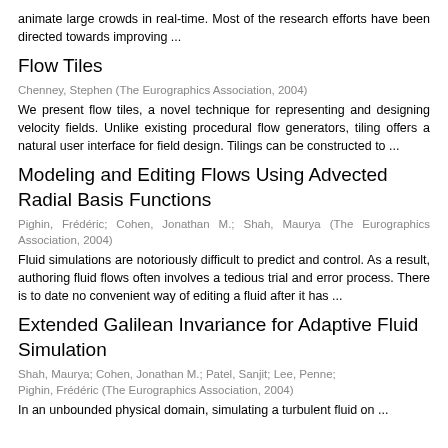animate large crowds in real-time. Most of the research efforts have been directed towards improving ...
Flow Tiles
Chenney, Stephen (The Eurographics Association, 2004)
We present flow tiles, a novel technique for representing and designing velocity fields. Unlike existing procedural flow generators, tiling offers a natural user interface for field design. Tilings can be constructed to ...
Modeling and Editing Flows Using Advected Radial Basis Functions
Pighin, Frédéric; Cohen, Jonathan M.; Shah, Maurya (The Eurographics Association, 2004)
Fluid simulations are notoriously difficult to predict and control. As a result, authoring fluid flows often involves a tedious trial and error process. There is to date no convenient way of editing a fluid after it has ...
Extended Galilean Invariance for Adaptive Fluid Simulation
Shah, Maurya; Cohen, Jonathan M.; Patel, Sanjit; Lee, Penne; Pighin, Frédéric (The Eurographics Association, 2004)
In an unbounded physical domain, simulating a turbulent fluid on ...